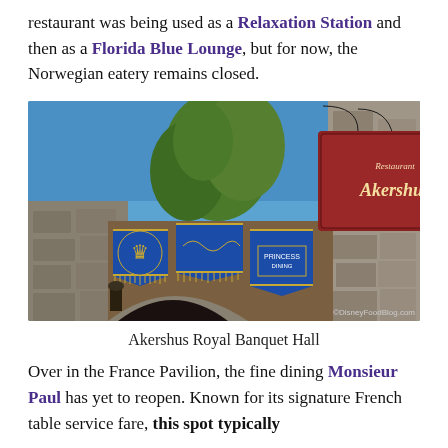restaurant was being used as a Relaxation Station and then as a Florida Blue Lounge, but for now, the Norwegian eatery remains closed.
[Figure (photo): Exterior photo of Akershus Royal Banquet Hall at EPCOT, showing ornate blue and gold decorative banners over a stone archway entrance, with a large wooden sign reading 'Restaurant Akershus' hanging from a wrought iron bracket against a blue sky. Watermark: ©DisneyFoodBlog.com]
Akershus Royal Banquet Hall
Over in the France Pavilion, the fine dining Monsieur Paul has yet to reopen. Known for its signature French table service fare, this spot typically features Prix Fixe tasting menus and more.